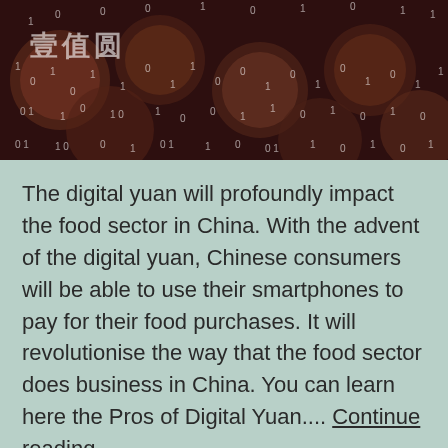[Figure (photo): Background image of Chinese yuan coins with binary code (0s and 1s) overlaid on a dark reddish-brown background, with Chinese characters visible in the upper left.]
The digital yuan will profoundly impact the food sector in China. With the advent of the digital yuan, Chinese consumers will be able to use their smartphones to pay for their food purchases. It will revolutionise the way that the food sector does business in China. You can learn here the Pros of Digital Yuan.... Continue reading